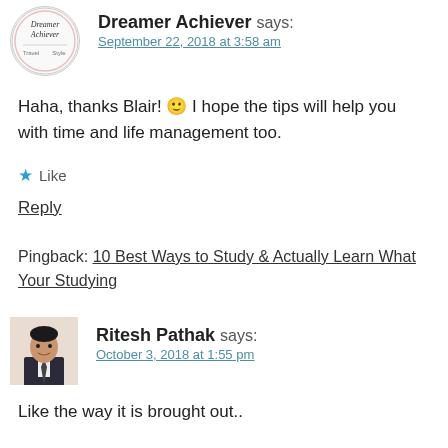[Figure (illustration): Circular avatar logo for Dreamer Achiever with text 'Dreamer Achiever Travel Style']
Dreamer Achiever says:
September 22, 2018 at 3:58 am
Haha, thanks Blair! 🙂 I hope the tips will help you with time and life management too.
★ Like
Reply
Pingback: 10 Best Ways to Study & Actually Learn What Your Studying
[Figure (photo): Photo of Ritesh Pathak, a man in a suit and tie]
Ritesh Pathak says:
October 3, 2018 at 1:55 pm
Like the way it is brought out..